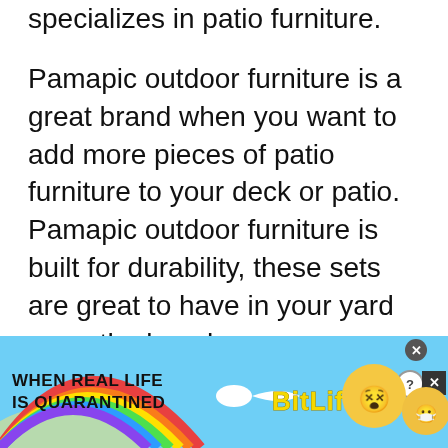specializes in patio furniture.
Pamapic outdoor furniture is a great brand when you want to add more pieces of patio furniture to your deck or patio. Pamapic outdoor furniture is built for durability, these sets are great to have in your yard or on the beach.
Pamapic is a good brand for outdoor heaters, furniture,
[Figure (other): BitLife mobile game advertisement banner: rainbow arc on blue background, text 'WHEN REAL LIFE IS QUARANTINED', sperm emoji graphic, BitLife logo in yellow, cartoon face emoji with star eyes, and masked emoji. Close/help/X buttons in top-right corner.]